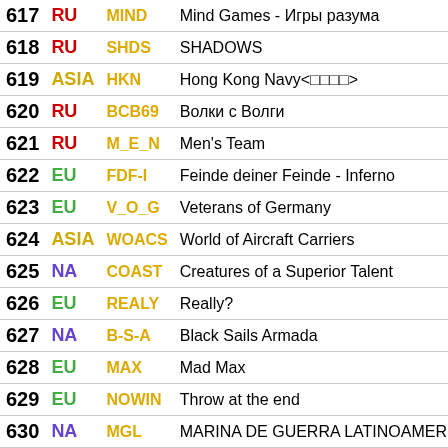| # | Region | Tag | Name |
| --- | --- | --- | --- |
| 617 | RU | MIND | Mind Games - Игры разума |
| 618 | RU | SHDS | SHADOWS |
| 619 | ASIA | HKN | Hong Kong Navy<□□□□> |
| 620 | RU | BCB69 | Волки с Волги |
| 621 | RU | M_E_N | Men's Team |
| 622 | EU | FDF-I | Feinde deiner Feinde - Inferno |
| 623 | EU | V_O_G | Veterans of Germany |
| 624 | ASIA | WOACS | World of Aircraft Carriers |
| 625 | NA | COAST | Creatures of a Superior Talent |
| 626 | EU | REALY | Really? |
| 627 | NA | B-S-A | Black Sails Armada |
| 628 | EU | MAX | Mad Max |
| 629 | EU | NOWIN | Throw at the end |
| 630 | NA | MGL | MARINA DE GUERRA LATINOAMERICANA |
| 631 | ASIA | KAMI | The Divine Wind |